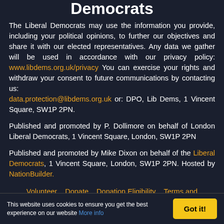Democrats
The Liberal Democrats may use the information you provide, including your political opinions, to further our objectives and share it with our elected representatives. Any data we gather will be used in accordance with our privacy policy: www.libdems.org.uk/privacy You can exercise your rights and withdraw your consent to future communications by contacting us: data.protection@libdems.org.uk or: DPO, Lib Dems, 1 Vincent Square, SW1P 2PN.
Published and promoted by P. Dollimore on behalf of London Liberal Democrats, 1 Vincent Square, London, SW1P 2PN
Published and promoted by Mike Dixon on behalf of the Liberal Democrats, 1 Vincent Square, London, SW1P 2PN. Hosted by NationBuilder.
Volunteer   Donate   Donation Eligibility   Terms and
This website uses cookies to ensure you get the best experience on our website More info